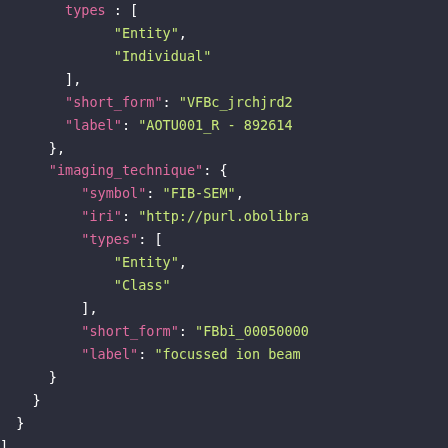[Figure (screenshot): A dark-themed code editor screenshot showing JSON-like structured data with pink keys and yellow-green string values, depicting fields including types, short_form, label, imaging_technique with nested symbol, iri, types, short_form, label fields, and pub_syn array.]